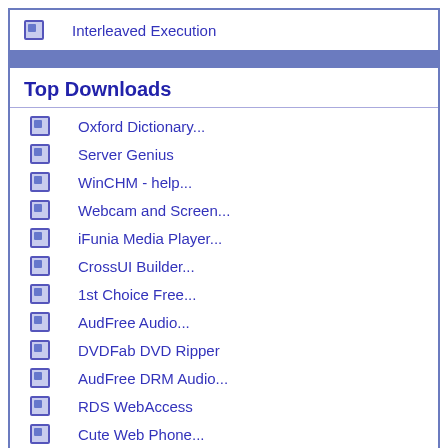Interleaved Execution
Top Downloads
Oxford Dictionary...
Server Genius
WinCHM - help...
Webcam and Screen...
iFunia Media Player...
CrossUI Builder...
1st Choice Free...
AudFree Audio...
DVDFab DVD Ripper
AudFree DRM Audio...
RDS WebAccess
Cute Web Phone...